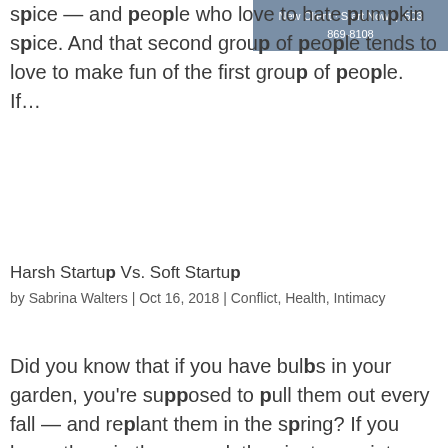[Figure (other): Advertisement banner: New Client · Start Now | 503 869-8108]
spice — and people who love to hate pumpkin spice. And that second group of people tends to love to make fun of the first group of people. If…
Harsh Startup Vs. Soft Startup
by Sabrina Walters | Oct 16, 2018 | Conflict, Health, Intimacy
Did you know that if you have bulbs in your garden, you're supposed to pull them out every fall — and replant them in the spring? If you leave them in the ground, they just grow into bulb clusters and eventually stop flowering altogether. There's a lesson for…